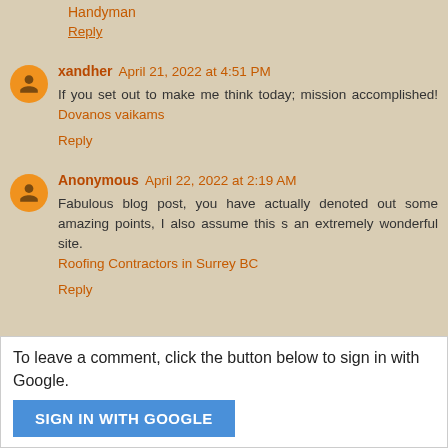Handyman
Reply
xandher  April 21, 2022 at 4:51 PM
If you set out to make me think today; mission accomplished! Dovanos vaikams
Reply
Anonymous  April 22, 2022 at 2:19 AM
Fabulous blog post, you have actually denoted out some amazing points, I also assume this s an extremely wonderful site. Roofing Contractors in Surrey BC
Reply
To leave a comment, click the button below to sign in with Google.
SIGN IN WITH GOOGLE